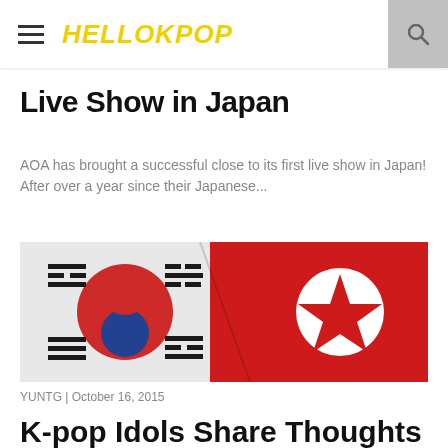HELLOKPOP
Live Show in Japan
AOA has brought a successful close to its first live show in Japan! After over a year since their Japanese...
[Figure (photo): Close-up photo of South Korean and North Korean flags side by side, showing the taegukgi and the red star flag]
YUNTG | October 16, 2015
K-pop Idols Share Thoughts On